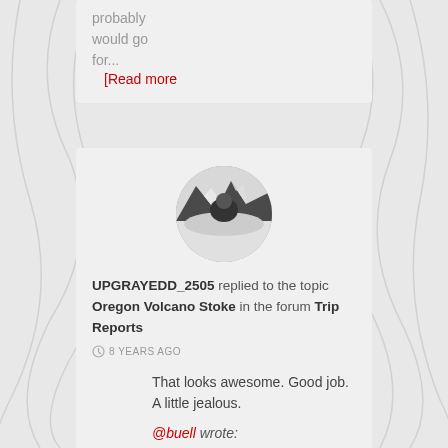probably would go for... [Read more
[Figure (photo): Circular avatar photo of a skier/mountaineer in black and white]
UPGRAYEDD_2505 replied to the topic Oregon Volcano Stoke in the forum Trip Reports
8 YEARS AGO
That looks awesome. Good job. A little jealous.
@buell wrote: